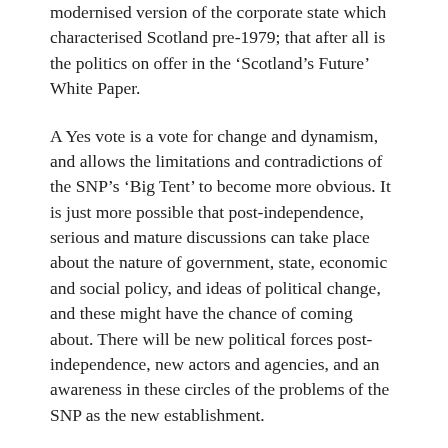modernised version of the corporate state which characterised Scotland pre-1979; that after all is the politics on offer in the 'Scotland's Future' White Paper.
A Yes vote is a vote for change and dynamism, and allows the limitations and contradictions of the SNP's 'Big Tent' to become more obvious. It is just more possible that post-independence, serious and mature discussions can take place about the nature of government, state, economic and social policy, and ideas of political change, and these might have the chance of coming about. There will be new political forces post-independence, new actors and agencies, and an awareness in these circles of the problems of the SNP as the new establishment.
Fintan O'Toole at Imagination: Scotland's Festival of Ideas noted the seismic change underway.